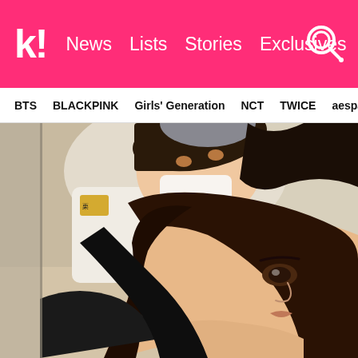k! News  Lists  Stories  Exclusives
BTS  BLACKPINK  Girls' Generation  NCT  TWICE  aespa
[Figure (photo): Selfie photo of two people. In the background/upper area, a person wearing a white uniform with a yellow patch/badge and a white face mask pulled down is visible. In the foreground, a young woman with long straight dark brown hair is facing the camera with a neutral expression, wearing a dark outfit.]